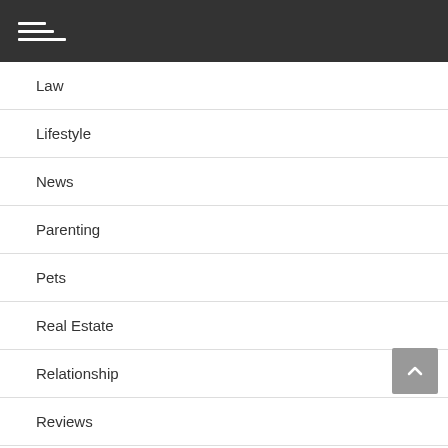Navigation menu header bar
Law
Lifestyle
News
Parenting
Pets
Real Estate
Relationship
Reviews
Shopping